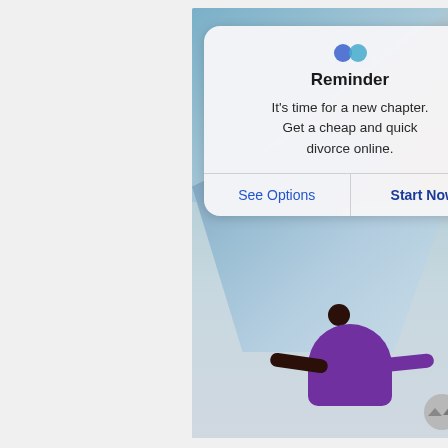[Figure (screenshot): Mobile phone screenshot showing a push notification/reminder ad overlay on top of a background image of a person in a purple shirt with arms outstretched holding a large flowing blue fabric against a sky backdrop. The notification card reads 'Reminder' with text 'It's time for a new chapter. Get a cheap and quick divorce online.' and two buttons: 'See Options' and 'Start Now'.]